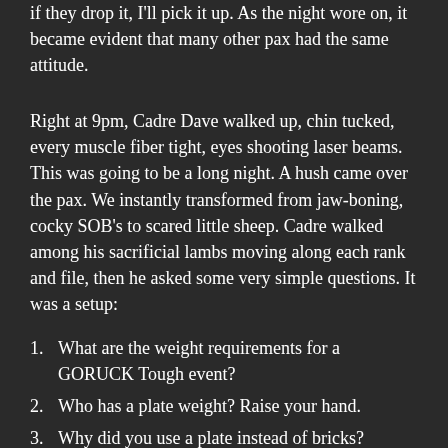if they drop it, I'll pick it up. As the night wore on, it became evident that many other pax had the same attitude.
Right at 9pm, Cadre Dave walked up, chin tucked, every muscle fiber tight, eyes shooting laser beams. This was going to be a long night. A hush came over the pax. We instantly transformed from jaw-boning, cocky SOB's to scared little sheep. Cadre walked among his sacrificial lambs moving along each rank and file, then he asked some very simple questions. It was a setup:
What are the weight requirements for a GORUCK Tough event?
Who has a plate weight? Raise your hand.
Why did you use a plate instead of bricks?
He asked each person who had a plate. That's what GORUCK sold us. Fits better. Yada, yada, yada.